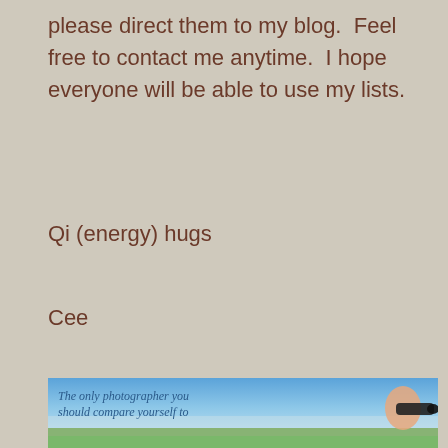please direct them to my blog.  Feel free to contact me anytime.  I hope everyone will be able to use my lists.
Qi (energy) hugs
Cee
[Figure (photo): Photograph of a person holding a camera with telephoto lens at the beach, with blue sky. Text overlay reads: 'The only photographer you should compare yourself to is the photographer you used to be.']